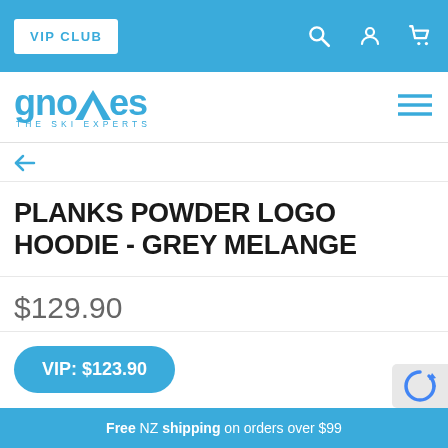VIP CLUB
[Figure (logo): Gnomes The Ski Experts logo with blue text and mountain symbol]
PLANKS POWDER LOGO HOODIE - GREY MELANGE
$129.90
VIP: $123.90
Free NZ shipping on orders over $99